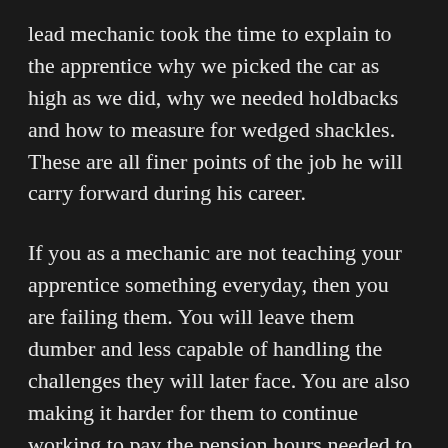lead mechanic took the time to explain to the apprentice why we picked the car as high as we did, why we needed holdbacks and how to measure for wedged shackles. These are all finer points of the job he will carry forward during his career.
If you as a mechanic are not teaching your apprentice something everyday, then you are failing them. You will leave them dumber and less capable of handling the challenges they will later face. You are also making it harder for them to continue working to pay the pension hours needed to sustain you in retirement.
Not every apprentice takes the initiative to